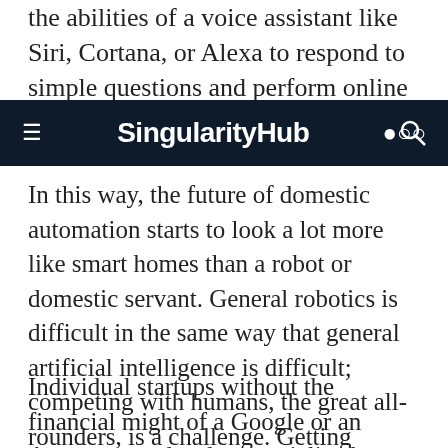the abilities of a voice assistant like Siri, Cortana, or Alexa to respond to simple questions and perform online tasks in a
SingularityHub
In this way, the future of domestic automation starts to look a lot more like smart homes than a robot or domestic servant. General robotics is difficult in the same way that general artificial intelligence is difficult; competing with humans, the great all-rounders, is a challenge. Getting superhuman performance at a more specific task, however, is feasible and won't cost the earth.
Individual startups without the financial might of a Google or an Amazon can develop specialized robots, like Seven Dreamers'